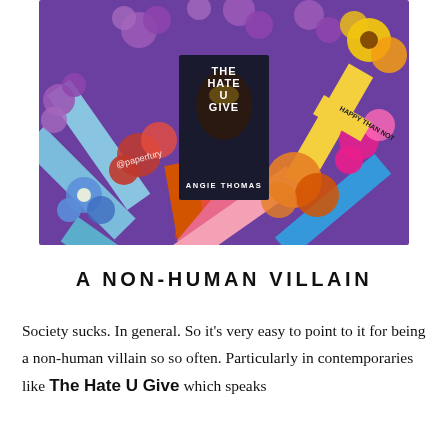[Figure (photo): A colorful flat-lay photo of 'The Hate U Give' by Angie Thomas book cover centered among many colorful books arranged in a sunburst pattern, surrounded by various flowers (purple, red, pink, orange, yellow). Instagram handle @paperfury visible in lower left of image.]
A NON-HUMAN VILLAIN
Society sucks. In general. So it's very easy to point to it for being a non-human villain so so often. Particularly in contemporaries like The Hate U Give which speaks